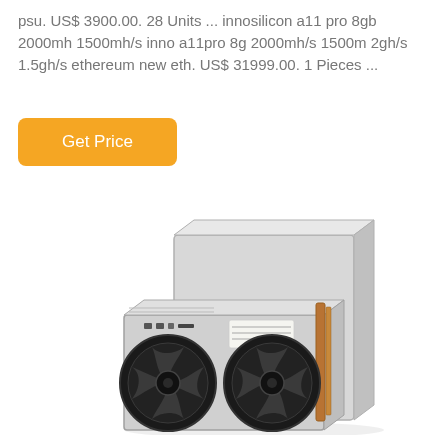psu. US$ 3900.00. 28 Units ... innosilicon a11 pro 8gb 2000mh 1500mh/s inno a11pro 8g 2000mh/s 1500m 2gh/s 1.5gh/s ethereum new eth. US$ 31999.00. 1 Pieces ...
Get Price
[Figure (photo): Photo of an Innosilicon A11 Pro cryptocurrency mining rig showing a silver/grey metal enclosure with two large black cooling fans at the front, copper heat pipes visible on the side, and a label on the top panel.]